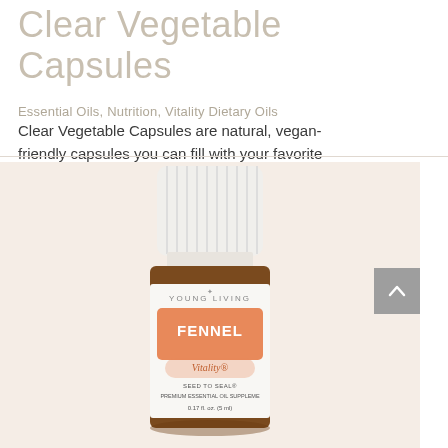Clear Vegetable Capsules
Essential Oils, Nutrition, Vitality Dietary Oils
Clear Vegetable Capsules are natural, vegan-friendly capsules you can fill with your favorite
[Figure (photo): Young Living Fennel Vitality essential oil supplement bottle (5ml) with white ribbed cap, amber glass bottle, and orange label. Seed to Seal premium essential oil supplement, 0.17 fl. oz. (5 ml).]